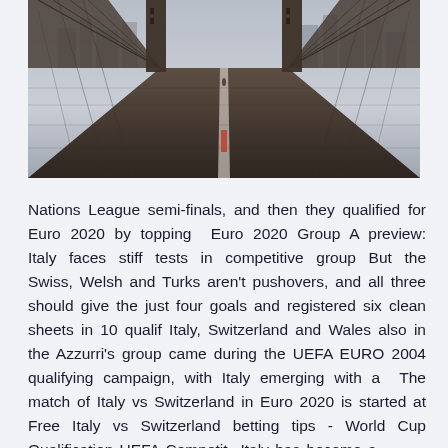[Figure (photo): A perspective view down the Brooklyn Bridge walkway, with suspension cables on both sides, wooden planks underfoot, and a city skyline in the background. The image is in muted, cool tones.]
Nations League semi-finals, and then they qualified for Euro 2020 by topping  Euro 2020 Group A preview: Italy faces stiff tests in competitive group But the Swiss, Welsh and Turks aren't pushovers, and all three should give the just four goals and registered six clean sheets in 10 qualif Italy, Switzerland and Wales also in the Azzurri's group came during the UEFA EURO 2004 qualifying campaign, with Italy emerging with a  The match of Italy vs Switzerland in Euro 2020 is started at Free Italy vs Switzerland betting tips - World Cup Qualification UEFA Competit...Italy has become a...